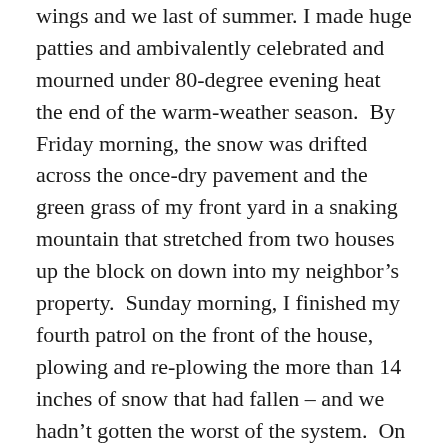wings and we last of summer. I made huge patties and ambivalently celebrated and mourned under 80-degree evening heat the end of the warm-weather season.  By Friday morning, the snow was drifted across the once-dry pavement and the green grass of my front yard in a snaking mountain that stretched from two houses up the block on down into my neighbor's property.  Sunday morning, I finished my fourth patrol on the front of the house, plowing and re-plowing the more than 14 inches of snow that had fallen – and we hadn't gotten the worst of the system.  On the south side of our yard, in the wind tunnel between our house and our neighbor's, a drift fueled by the non-stop northwest gales grew so high that it touched the bottom of our